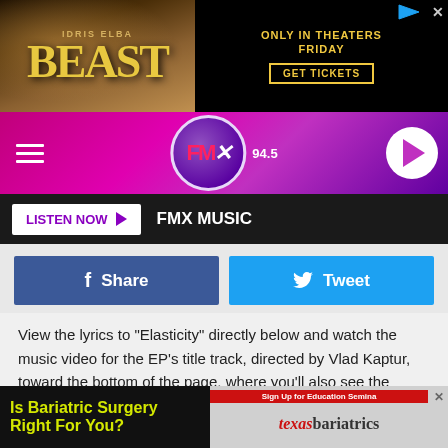[Figure (photo): Beast movie advertisement banner with Idris Elba, 'Only in Theaters Friday, Get Tickets' text]
[Figure (logo): FMX 94.5 radio station navigation bar with hamburger menu and play button]
LISTEN NOW  FMX MUSIC
[Figure (infographic): Facebook Share button and Twitter Tweet button row]
View the lyrics to "Elasticity" directly below and watch the music video for the EP's title track, directed by Vlad Kaptur, toward the bottom of the page, where you'll also see the Elasticity artwork and track listing.
Pre-order the Elasticity EP, out on Alchemy Recordings/BMG, here.
[Figure (photo): Is Bariatric Surgery Right For You? advertisement with Texas Bariatrics logo and doctor image]